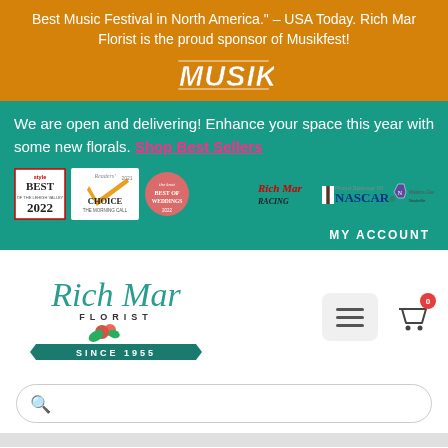Best Music Festival in North America." – USA Today. Rich Mar Florist is the proud sponsor of Musikfest!
[Figure (logo): Musikfest logo in orange and white]
We are open and delivering! Enhance your space this year with some new florals. Shop Best Sellers
[Figure (logo): Row of badges: Style Best 2022, Readers Choice 2021 The Morning Call, The Knot Best of Weddings 2022, Rich Mar Racing, Proud Sponsor of NASCAR, Watkins Glen, Nashville]
MY ACCOUNT
[Figure (logo): Rich Mar Florist logo with teal script text, rose illustration, and ribbon reading SINCE 1955]
[Figure (other): Hamburger menu icon and shopping cart icon with badge showing 0]
[Figure (other): Search bar with magnifying glass icon]